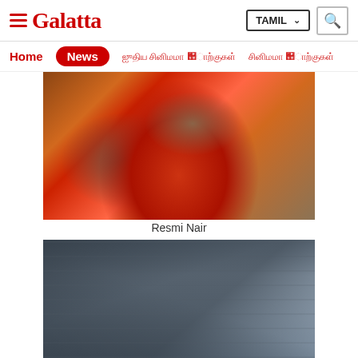Galatta - TAMIL
Home | News | [Tamil navigation links]
[Figure (photo): Person wearing red dress seated on a sofa, showing legs crossed]
Resmi Nair
[Figure (photo): Interior view of a corrugated metal roof structure with diagonal beams]